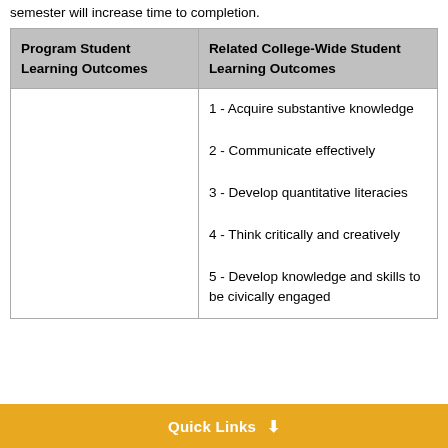semester will increase time to completion.
| Program Student Learning Outcomes | Related College-Wide Student Learning Outcomes |
| --- | --- |
|  | 1 - Acquire substantive knowledge
2 - Communicate effectively
3 - Develop quantitative literacies
4 - Think critically and creatively
5 - Develop knowledge and skills to be civically engaged |
Quick Links ↓